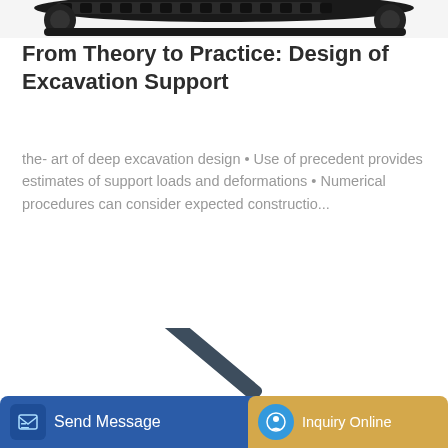[Figure (photo): Top portion of excavator track/undercarriage detail, dark/black machinery part]
From Theory to Practice: Design of Excavation Support
the- art of deep excavation design • Use of precedent provides estimates of support loads and deformations • Numerical procedures can consider expected constructio...
[Figure (photo): Hyundai excavator with arm extended, dark blue/grey machine shown from the side]
Send Message
Inquiry Online